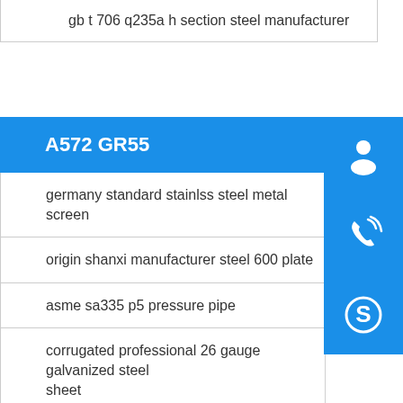gb t 706 q235a h section steel manufacturer
A572 GR55
germany standard stainlss steel metal screen
origin shanxi manufacturer steel 600 plate
asme sa335 p5 pressure pipe
corrugated professional 26 gauge galvanized steel sheet
q275a channel steel yield strength
available 99 95% tungsten tubes minimum size od2 5mm
[Figure (infographic): Three blue square buttons on the right sidebar: headset/customer service icon, phone/call icon, Skype icon]